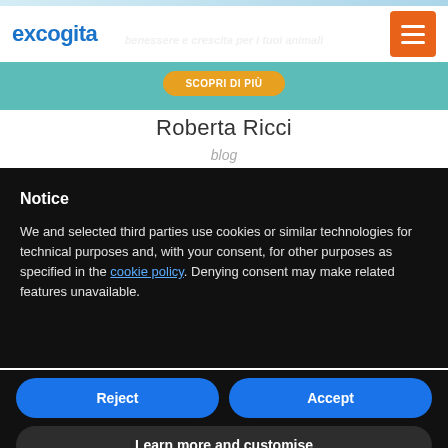[Figure (screenshot): Excogita website header with logo and hamburger menu button, teal banner strip with Italian text and orange SCOPRI DI PIÙ button]
Roberta Ricci
blog
Notice
We and selected third parties use cookies or similar technologies for technical purposes and, with your consent, for other purposes as specified in the cookie policy. Denying consent may make related features unavailable.
Reject
Accept
Learn more and customise